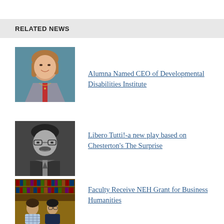RELATED NEWS
[Figure (photo): Headshot of a woman with shoulder-length brown hair, wearing a red top and grey blazer, against a teal background]
Alumna Named CEO of Developmental Disabilities Institute
[Figure (photo): Black and white photo of an older man with a mustache and glasses, wearing a suit]
Libero Tutti!-a new play based on Chesterton's The Surprise
[Figure (photo): Two people standing in front of bookshelves filled with law books — a man in a plaid shirt and a woman in glasses]
Faculty Receive NEH Grant for Business Humanities